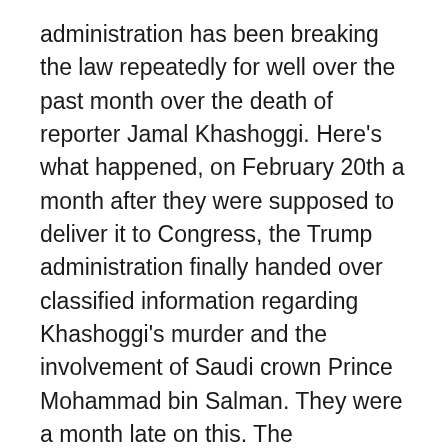administration has been breaking the law repeatedly for well over the past month over the death of reporter Jamal Khashoggi. Here's what happened, on February 20th a month after they were supposed to deliver it to Congress, the Trump administration finally handed over classified information regarding Khashoggi's murder and the involvement of Saudi crown Prince Mohammad bin Salman. They were a month late on this. The Democrats had issued requests. They had sent subpoenas for information, and the Trump administration repeatedly ignored it. They were given deadlines, legal deadlines that they had to meet, that they failed to meet continuously breaking the law as we have seen from this administration since day one. Although again, they